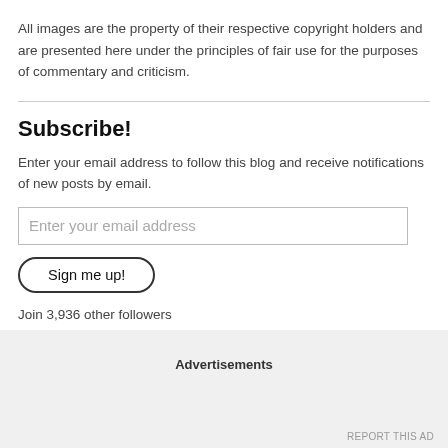All images are the property of their respective copyright holders and are presented here under the principles of fair use for the purposes of commentary and criticism.
Subscribe!
Enter your email address to follow this blog and receive notifications of new posts by email.
Join 3,936 other followers
Advertisements
REPORT THIS AD